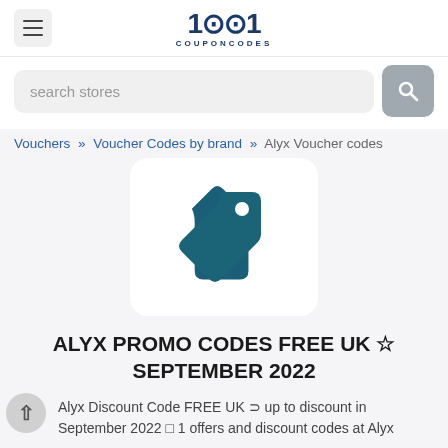1001 COUPONCODES
search stores
Vouchers » Voucher Codes by brand » Alyx Voucher codes
[Figure (logo): Price tag icon in dark teal color on white rounded rectangle background]
ALYX PROMO CODES FREE UK ☆ SEPTEMBER 2022
Alyx Discount Code FREE UK ⊁ up to discount in September 2022 □ 1 offers and discount codes at Alyx